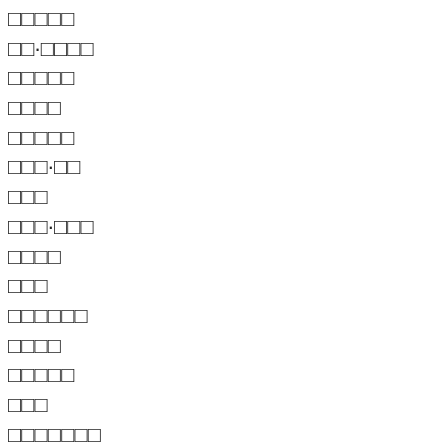□□□□□
□□·□□□□
□□□□□
□□□□
□□□□□
□□□·□□
□□□
□□□·□□□
□□□□
□□□
□□□□□□
□□□□
□□□□□
□□□
□□□□□□□
□□□□
□□□□·□□□